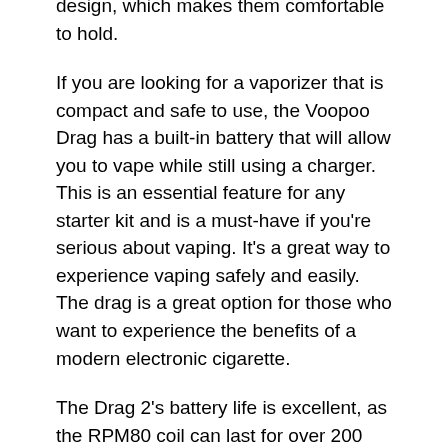design, which makes them comfortable to hold.
If you are looking for a vaporizer that is compact and safe to use, the Voopoo Drag has a built-in battery that will allow you to vape while still using a charger. This is an essential feature for any starter kit and is a must-have if you're serious about vaping. It's a great way to experience vaping safely and easily. The drag is a great option for those who want to experience the benefits of a modern electronic cigarette.
The Drag 2's battery life is excellent, as the RPM80 coil can last for over 200 draws on a 3000mAh battery. The drag's coils are also long-lasting, lasting you up to 320 hits. If you're looking for a vaporizer that will last longer, then the Drag 2 is an excellent choice. The battery life and build quality of both products are top-notch, and the VOOPOO range is well worth considering.